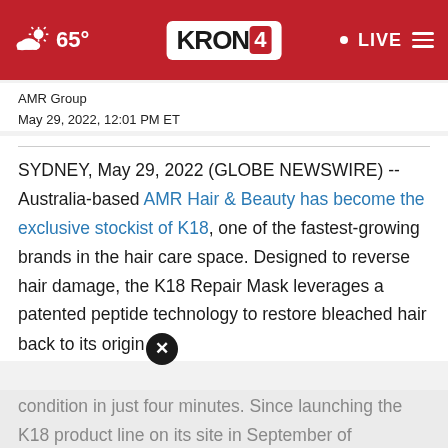KRON4 | 65° | LIVE
AMR Group
May 29, 2022, 12:01 PM ET
SYDNEY, May 29, 2022 (GLOBE NEWSWIRE) -- Australia-based AMR Hair & Beauty has become the exclusive stockist of K18, one of the fastest-growing brands in the hair care space. Designed to reverse hair damage, the K18 Repair Mask leverages a patented peptide technology to restore bleached hair back to its original condition in just four minutes. Since launching the K18 product line on its site in September of